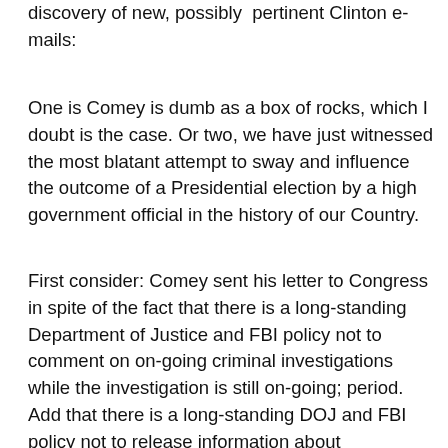discovery of new, possibly  pertinent Clinton e-mails:
One is Comey is dumb as a box of rocks, which I doubt is the case. Or two, we have just witnessed the most blatant attempt to sway and influence the outcome of a Presidential election by a high government official in the history of our Country.
First consider: Comey sent his letter to Congress in spite of the fact that there is a long-standing Department of Justice and FBI policy not to comment on on-going criminal investigations while the investigation is still on-going; period. Add that there is a long-standing DOJ and FBI policy not to release information about investigations that might possibly